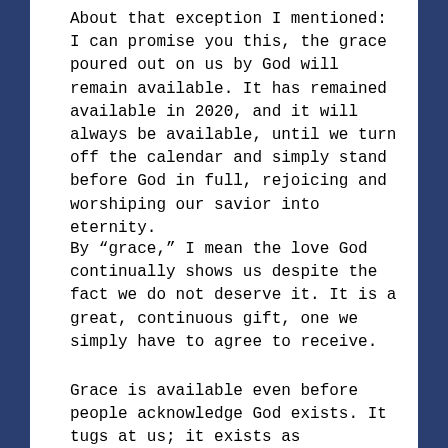About that exception I mentioned: I can promise you this, the grace poured out on us by God will remain available. It has remained available in 2020, and it will always be available, until we turn off the calendar and simply stand before God in full, rejoicing and worshiping our savior into eternity.
By “grace,” I mean the love God continually shows us despite the fact we do not deserve it. It is a great, continuous gift, one we simply have to agree to receive.
Grace is available even before people acknowledge God exists. It tugs at us; it exists as